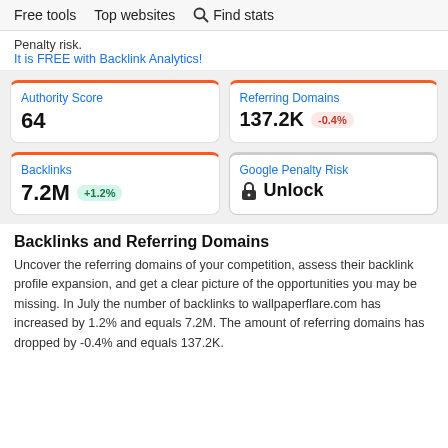Free tools   Top websites   🔍 Find stats
Penalty risk.
It is FREE with Backlink Analytics!
Authority Score
64
Referring Domains
137.2K  -0.4%
Backlinks
7.2M  +1.2%
Google Penalty Risk
🔒 Unlock
Backlinks and Referring Domains
Uncover the referring domains of your competition, assess their backlink profile expansion, and get a clear picture of the opportunities you may be missing. In July the number of backlinks to wallpaperflare.com has increased by 1.2% and equals 7.2M. The amount of referring domains has dropped by -0.4% and equals 137.2K.